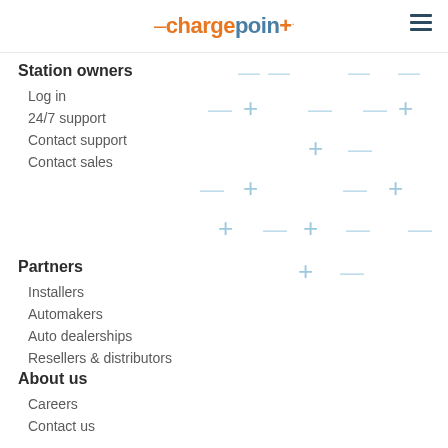ChargePoint navigation header with logo and hamburger menu
[Figure (illustration): Decorative light blue plus/minus symbol pattern background on right side]
Station owners
Log in
24/7 support
Contact support
Contact sales
Partners
Installers
Automakers
Auto dealerships
Resellers & distributors
About us
Careers
Contact us